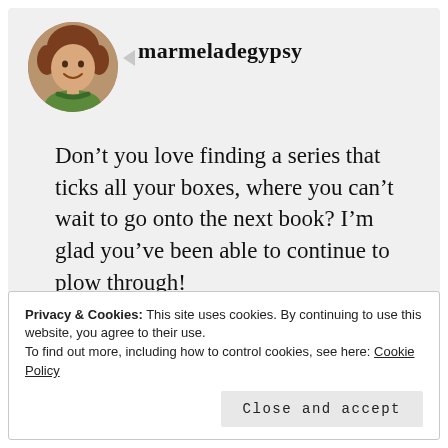[Figure (photo): Circular avatar photo of a woman with short reddish-brown hair wearing a green top, smiling]
marmeladegypsy
Don't you love finding a series that ticks all your boxes, where you can't wait to go onto the next book? I'm glad you've been able to continue to plow through!
Privacy & Cookies: This site uses cookies. By continuing to use this website, you agree to their use.
To find out more, including how to control cookies, see here: Cookie Policy
Close and accept